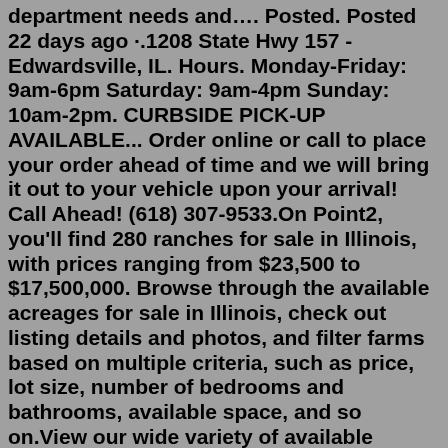department needs and…. Posted. Posted 22 days ago ·.1208 State Hwy 157 - Edwardsville, IL. Hours. Monday-Friday: 9am-6pm Saturday: 9am-4pm Sunday: 10am-2pm. CURBSIDE PICK-UP AVAILABLE... Order online or call to place your order ahead of time and we will bring it out to your vehicle upon your arrival! Call Ahead! (618) 307-9533.On Point2, you'll find 280 ranches for sale in Illinois, with prices ranging from $23,500 to $17,500,000. Browse through the available acreages for sale in Illinois, check out listing details and photos, and filter farms based on multiple criteria, such as price, lot size, number of bedrooms and bathrooms, available space, and so on.View our wide variety of available puppies for sale at Petland St. Louis, and Fenton, Missouri Locations. Directions Call/Text Toggle Navigation. Available Puppies. Video Gallery. Puppy Gallery. Puppy Breeds. Fenton, Missouri. 636-600-0635. Lake St. Louis, Missouri. 636-695-4503. Toggle navigation.Edwardsville, IL High Visibility along St. Louis Street, Madison County Courthouse?